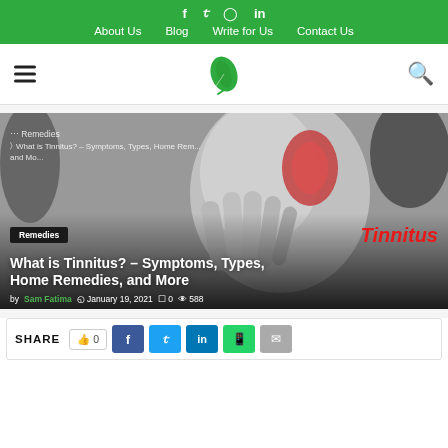f  ✦  in  |  About Us  Blog  Write for Us  Contact Us
[Figure (logo): Green leaf logo icon in navigation bar]
[Figure (photo): Black and white photo of person holding their ear/jaw in pain with reddish ear highlight, overlaid with breadcrumb navigation, Remedies badge, red italic Tinnitus label, article title and metadata]
What is Tinnitus? – Symptoms, Types, Home Remedies, and More
by Sam Fatima  January 19, 2021  0  588